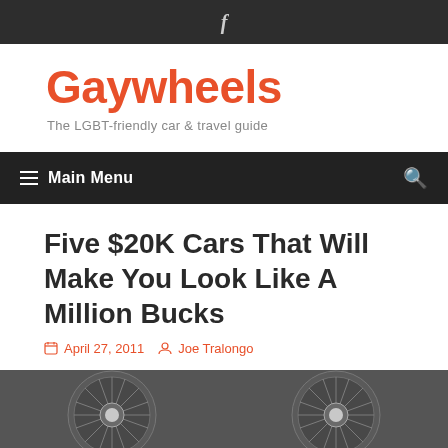f
Gaywheels
The LGBT-friendly car & travel guide
Main Menu
Five $20K Cars That Will Make You Look Like A Million Bucks
April 27, 2011   Joe Tralongo
[Figure (photo): Close-up photo of two car alloy wheels with radial spoke design, shown in black and white]